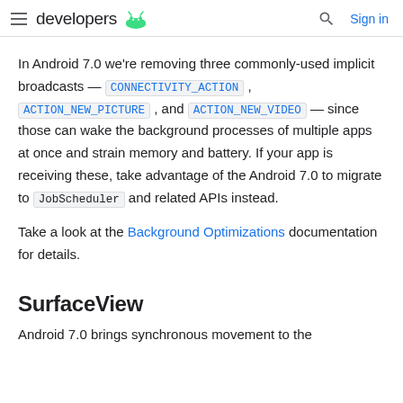developers [android logo] | [search icon] Sign in
In Android 7.0 we're removing three commonly-used implicit broadcasts — CONNECTIVITY_ACTION, ACTION_NEW_PICTURE, and ACTION_NEW_VIDEO — since those can wake the background processes of multiple apps at once and strain memory and battery. If your app is receiving these, take advantage of the Android 7.0 to migrate to JobScheduler and related APIs instead.
Take a look at the Background Optimizations documentation for details.
SurfaceView
Android 7.0 brings synchronous movement to the